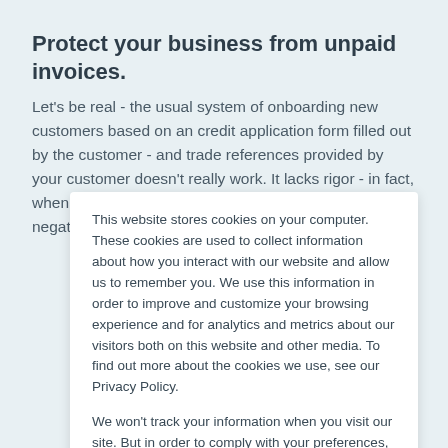Protect your business from unpaid invoices.
Let's be real - the usual system of onboarding new customers based on an credit application form filled out by the customer - and trade references provided by your customer doesn't really work. It lacks rigor - in fact, when was the last time a trade reference said anything negative during a credit check?
This website stores cookies on your computer. These cookies are used to collect information about how you interact with our website and allow us to remember you. We use this information in order to improve and customize your browsing experience and for analytics and metrics about our visitors both on this website and other media. To find out more about the cookies we use, see our Privacy Policy.
We won't track your information when you visit our site. But in order to comply with your preferences, we'll have to use just one tiny cookie so that you're not asked to make this choice again.
OK   Decline